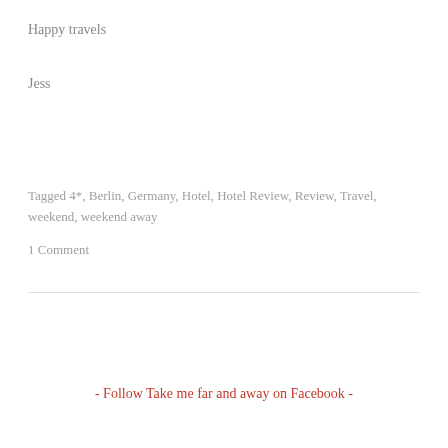Happy travels
Jess
Tagged 4*, Berlin, Germany, Hotel, Hotel Review, Review, Travel, weekend, weekend away
1 Comment
- Follow Take me far and away on Facebook -